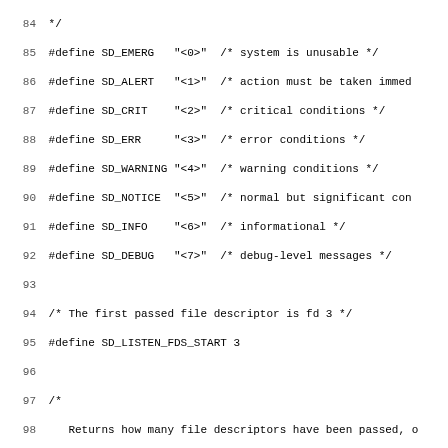Source code listing lines 84-115, showing C preprocessor defines for SD_EMERG through SD_DEBUG log levels, SD_LISTEN_FDS_START define, and documentation comment for sd_listen_fds function, followed by its declaration and start of another comment.